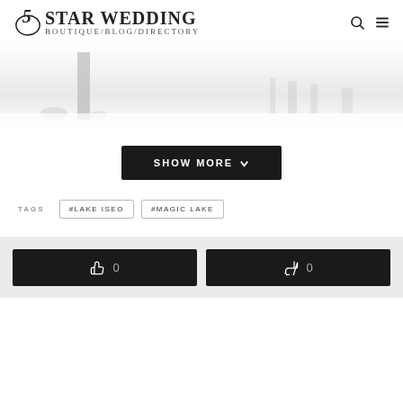5 STAR WEDDING BOUTIQUE/BLOG/DIRECTORY
[Figure (photo): Faded/misty black and white wedding photo showing tall structures and floral arrangements against a nearly white background]
SHOW MORE
TAGS  #LAKE ISEO  #MAGIC LAKE
[Figure (infographic): Vote bar with thumbs up (0) and thumbs down (0) buttons on a light grey background]